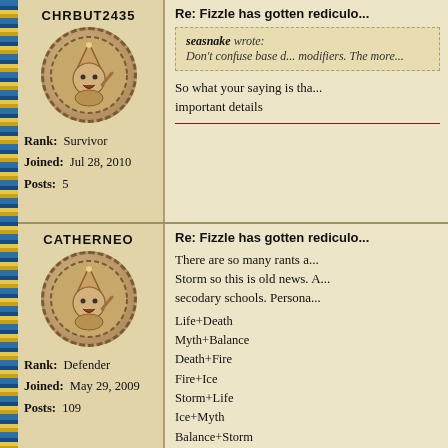CHRBUT2435
[Figure (illustration): Circular avatar with a cartoon wizard character wearing a star hat, drawn in brown/tan tones on a beige circular background with dashed border.]
Rank: Survivor
Joined: Jul 28, 2010
Posts: 5
Re: Fizzle has gotten rediculo...
seasnake wrote:
Don't confuse base d... modifiers. The more...
So what your saying is tha... important details
CATHERNEO
[Figure (illustration): Circular avatar with a cartoon wizard character wearing a star hat, drawn in brown/tan tones on a beige circular background with dashed border.]
Rank: Defender
Joined: May 29, 2009
Posts: 109
Re: Fizzle has gotten rediculo...
There are so many rants a... Storm so this is old news. A... secodary schools. Persona...
Life+Death
Myth+Balance
Death+Fire
Fire+Ice
Storm+Life
Ice+Myth
Balance+Storm